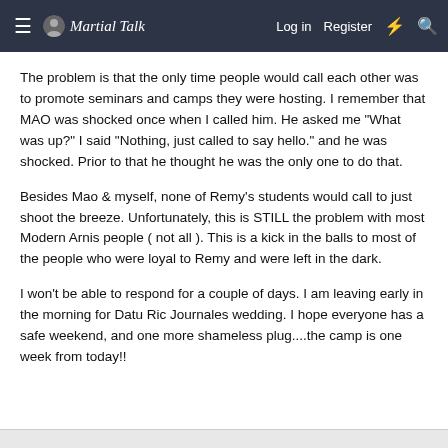Martial Talk | Log in | Register
The problem is that the only time people would call each other was to promote seminars and camps they were hosting. I remember that MAO was shocked once when I called him. He asked me "What was up?" I said "Nothing, just called to say hello." and he was shocked. Prior to that he thought he was the only one to do that.
Besides Mao & myself, none of Remy's students would call to just shoot the breeze. Unfortunately, this is STILL the problem with most Modern Arnis people ( not all ). This is a kick in the balls to most of the people who were loyal to Remy and were left in the dark.
I won't be able to respond for a couple of days. I am leaving early in the morning for Datu Ric Journales wedding. I hope everyone has a safe weekend, and one more shameless plug....the camp is one week from today!!